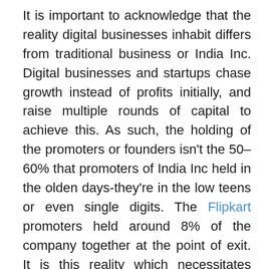It is important to acknowledge that the reality digital businesses inhabit differs from traditional business or India Inc. Digital businesses and startups chase growth instead of profits initially, and raise multiple rounds of capital to achieve this. As such, the holding of the promoters or founders isn't the 50–60% that promoters of India Inc held in the olden days-they're in the low teens or even single digits. The Flipkart promoters held around 8% of the company together at the point of exit. It is this reality which necessitates DVRs to ensure that promoters of tech companies can still direct the company as per their vision. The best blueprint for DVRs in India would be to follow the US model, wherein liquidity of these DVRs is limited and their economic rights are mitigated in favour of the preferential voting rights that they enjoy. The restrictions on the net-worth of the promoter group, the mandatory sunset clause impede the